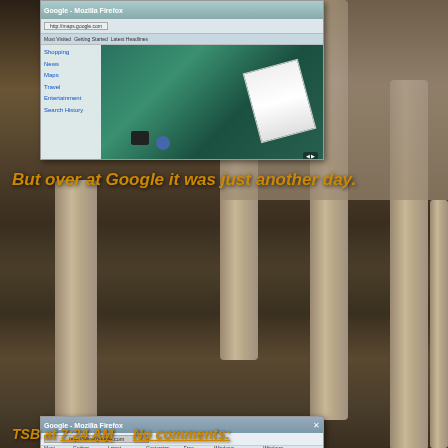[Figure (screenshot): Screenshot of a web browser showing an underwater/aerial scene with Google Maps or similar service, with a sidebar showing navigation options including Shopping, News, Maps, Travel, Entertainment, Search History]
But over at Google it was just another day.
[Figure (screenshot): Screenshot of Google homepage in Mozilla Firefox browser showing the classic Google search page with Google logo, search box, 'Google Search' and 'I'm Feeling Lucky' buttons, and links to Advertising Programs, Business Solutions, About Google]
TSB at 7:24 AM    No comments: